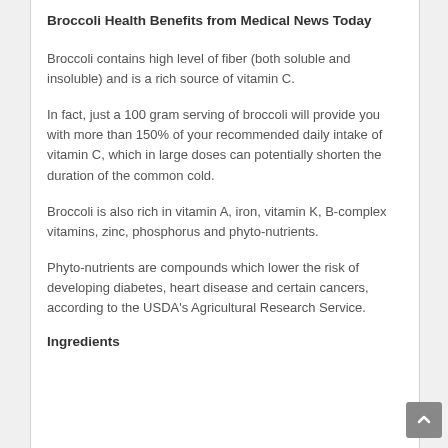Broccoli Health Benefits from Medical News Today
Broccoli contains high level of fiber (both soluble and insoluble) and is a rich source of vitamin C.
In fact, just a 100 gram serving of broccoli will provide you with more than 150% of your recommended daily intake of vitamin C, which in large doses can potentially shorten the duration of the common cold.
Broccoli is also rich in vitamin A, iron, vitamin K, B-complex vitamins, zinc, phosphorus and phyto-nutrients.
Phyto-nutrients are compounds which lower the risk of developing diabetes, heart disease and certain cancers, according to the USDA's Agricultural Research Service.
Ingredients